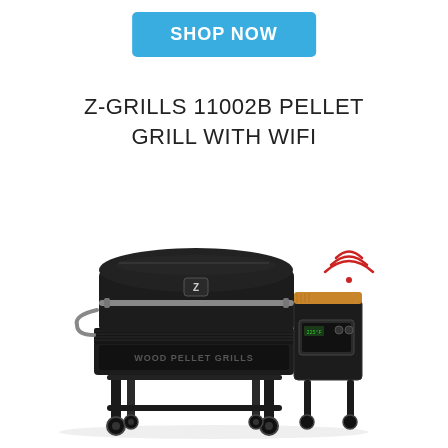SHOP NOW
Z-GRILLS 11002B PELLET GRILL WITH WIFI
[Figure (photo): Z-Grills 11002B pellet grill in black with WiFi symbol (red arc waves) above the right side controller box. The grill has a large barrel-shaped body, a side shelf with wooden cutting board top, a digital controller panel, a front handle, multiple legs with wheels, and text 'WOOD PELLET GRILLS' on the front lower panel.]